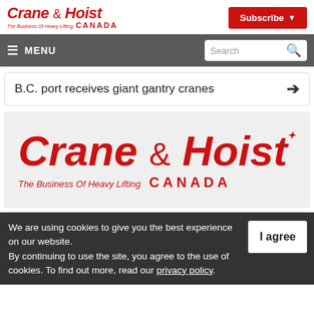Crane & Hoist Canada — The Business Of Heavy Lifting | Subscribe
≡ MENU | Search
B.C. port receives giant gantry cranes →
[Figure (logo): Crane & Hoist Canada logo — The Business Of Heavy Lifting, large version on grey background]
We are using cookies to give you the best experience on our website. By continuing to use the site, you agree to the use of cookies. To find out more, read our privacy policy.